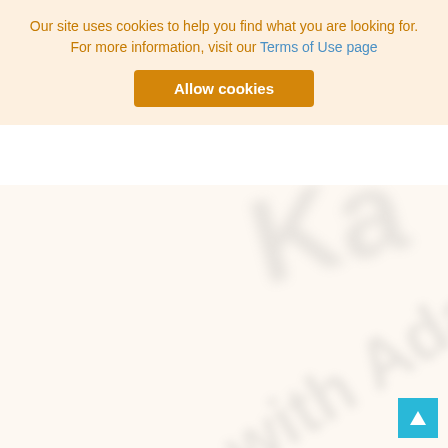Our site uses cookies to help you find what you are looking for. For more information, visit our Terms of Use page
Allow cookies
[Figure (other): Blurred watermark background with text 'Ka...' and 'rview with Ada N.' visible as a large diagonal light gray text overlay on a cream/white background]